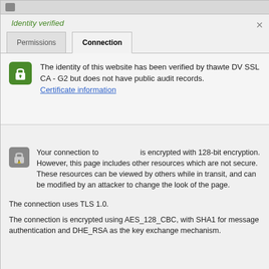[Figure (screenshot): Browser security dialog showing 'Identity verified' with Permissions and Connection tabs. Connection tab is active.]
Identity verified
Permissions
Connection
The identity of this website has been verified by thawte DV SSL CA - G2 but does not have public audit records.
Certificate information
Your connection to                  is encrypted with 128-bit encryption. However, this page includes other resources which are not secure. These resources can be viewed by others while in transit, and can be modified by an attacker to change the look of the page.
The connection uses TLS 1.0.
The connection is encrypted using AES_128_CBC, with SHA1 for message authentication and DHE_RSA as the key exchange mechanism.